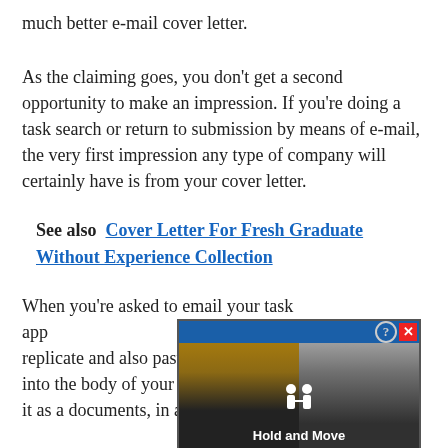much better e-mail cover letter.
As the claiming goes, you don't get a second opportunity to make an impression. If you're doing a task search or return to submission by means of e-mail, the very first impression any type of company will certainly have is from your cover letter.
See also  Cover Letter For Fresh Graduate Without Experience Collection
When you're asked to email your task app replicate and also paste your cover letter right into the body of your e-mail, or you can connect it as a documents, in addition to your resume. If